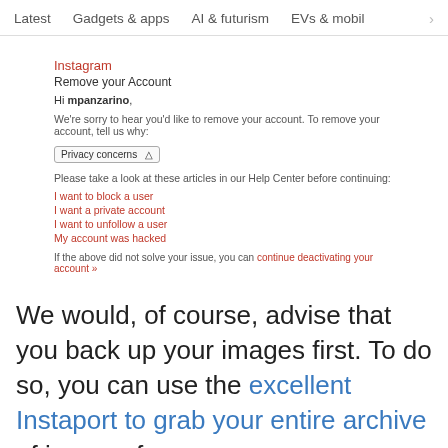Latest   Gadgets & apps   AI & futurism   EVs & mobil  >
[Figure (screenshot): Screenshot of Instagram 'Remove your Account' page showing a form with username 'mpanzarino', a 'Privacy concerns' dropdown, help article links (I want to block a user, I want a private account, I want to unfollow a user, My account was hacked), and a link to continue deactivating the account.]
We would, of course, advise that you back up your images first. To do so, you can use the excellent Instaport to grab your entire archive of images for